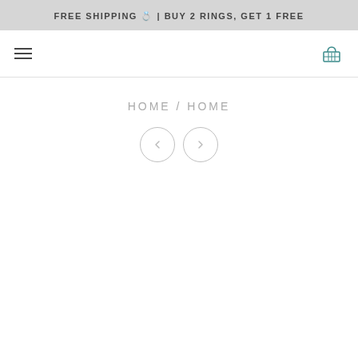FREE SHIPPING 💍 | BUY 2 RINGS, GET 1 FREE
[Figure (other): Navigation bar with hamburger menu icon on left and shopping basket icon on right]
HOME / HOME
[Figure (other): Two circular navigation arrow buttons (left arrow and right arrow)]